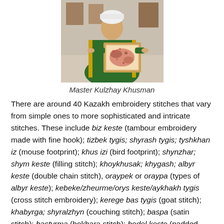[Figure (photo): Master Kulzhay Khusman holding an embroidered framed artwork, wearing traditional green velvet costume and white headwear]
Master Kulzhay Khusman
There are around 40 Kazakh embroidery stitches that vary from simple ones to more sophisticated and intricate stitches. These include biz keste (tambour embroidery made with fine hook); tizbek tygis; shyrash tygis; tyshkhan iz (mouse footprint); khus izi (bird footprint); shynzhar; shym keste (filling stitch); khoykhusak; khygash; albyr keste (double chain stitch), oraypek or oraypa (types of albyr keste); kebeke/zheurme/orys keste/aykhakh tygis (cross stitch embroidery); kerege bas tygis (goat stitch); khabyrga; shyralzhyn (couching stitch); baspa (satin stitch); bastyrma (bokhara stitch); bedel keste (padded satin stitch); zhormeu (dimensional stem stitch); marzhandau (seed bead embroidery); altyndap tygu (goldwork with